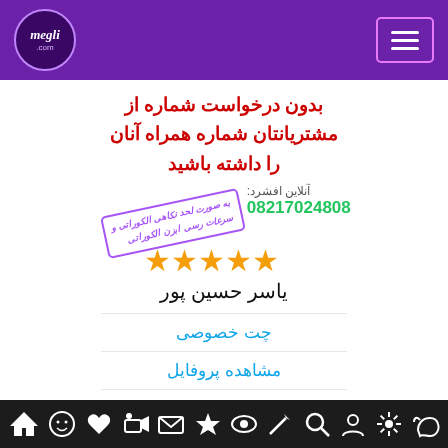megli.com — navigation header with logo and menu button
بدون درخواست شماره از مشتریانتان شماره همراه آنان را داشته باشید
آنلاین افشرد: 08217024808
به صورت لحد نکاهی الکوراتی و سرعات رسی ابزن الکوراتی
[Figure (other): Five gold star rating icons]
یاسر حسین پور
چت خصوصی
مشاهده پروفایل
ارسال پیام
Bottom navigation bar with icons: home, smiley, heart, like, mail, star, eye, pen, search, person, asterisk, cloud